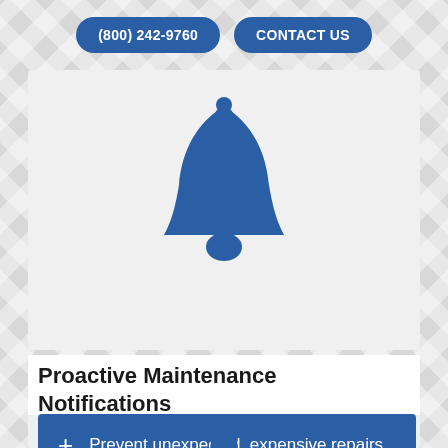(800) 242-9760   CONTACT US
[Figure (illustration): Bell notification icon in dark blue on a light gray background card]
Proactive Maintenance Notifications
Prevent unexpected, expensive repairs.